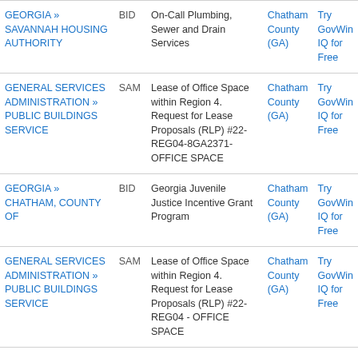| Agency | Type | Title | Location | Action |
| --- | --- | --- | --- | --- |
| GEORGIA » SAVANNAH HOUSING AUTHORITY | BID | On-Call Plumbing, Sewer and Drain Services | Chatham County (GA) | Try GovWin IQ for Free |
| GENERAL SERVICES ADMINISTRATION » PUBLIC BUILDINGS SERVICE | SAM | Lease of Office Space within Region 4. Request for Lease Proposals (RLP) #22-REG04-8GA2371- OFFICE SPACE | Chatham County (GA) | Try GovWin IQ for Free |
| GEORGIA » CHATHAM, COUNTY OF | BID | Georgia Juvenile Justice Incentive Grant Program | Chatham County (GA) | Try GovWin IQ for Free |
| GENERAL SERVICES ADMINISTRATION » PUBLIC BUILDINGS SERVICE | SAM | Lease of Office Space within Region 4. Request for Lease Proposals (RLP) #22-REG04 - OFFICE SPACE | Chatham County (GA) | Try GovWin IQ for Free |